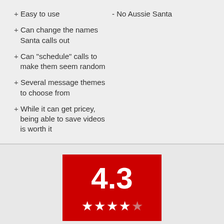+ Easy to use
- No Aussie Santa
+ Can change the names Santa calls out
+ Can "schedule" calls to make them seem random
+ Several message themes to choose from
+ While it can get pricey, being able to save videos is worth it
[Figure (infographic): Red box with a large white '4.3' rating score and four filled white stars and one partial/empty star below]